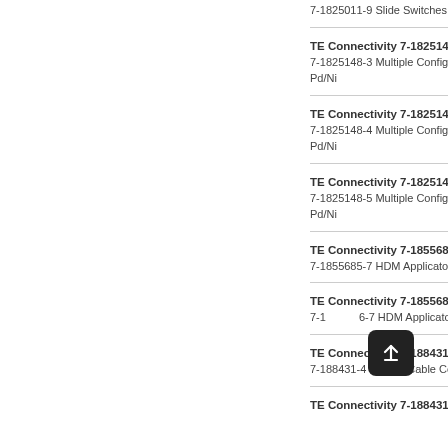7-1825011-9 Slide Switches A...
TE Connectivity 7-1825148-...
7-1825148-3 Multiple Configu... Pd/Ni
TE Connectivity 7-1825148-...
7-1825148-4 Multiple Configu... Pd/Ni
TE Connectivity 7-1825148-...
7-1825148-5 Multiple Configu... Pd/Ni
TE Connectivity 7-1855685-...
7-1855685-7 HDM Applicator...
TE Connectivity 7-1855686-...
7-1855686-7 HDM Applicator...
TE Connectivity 7-188431-4...
7-188431-4 Ribbon Cable Co...
TE Connectivity 7-188431-6...